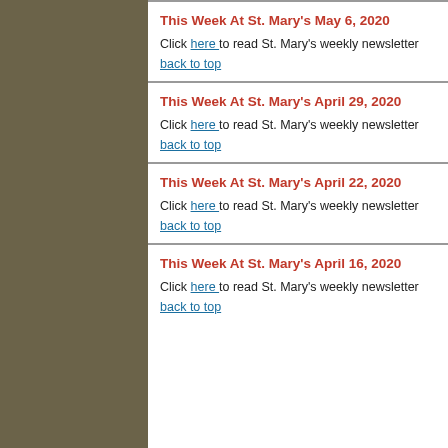This Week At St. Mary's May 6, 2020
Click here to read St. Mary's weekly newsletter
back to top
This Week At St. Mary's April 29, 2020
Click here to read St. Mary's weekly newsletter
back to top
This Week At St. Mary's April 22, 2020
Click here to read St. Mary's weekly newsletter
back to top
This Week At St. Mary's April 16, 2020
Click here to read St. Mary's weekly newsletter
back to top